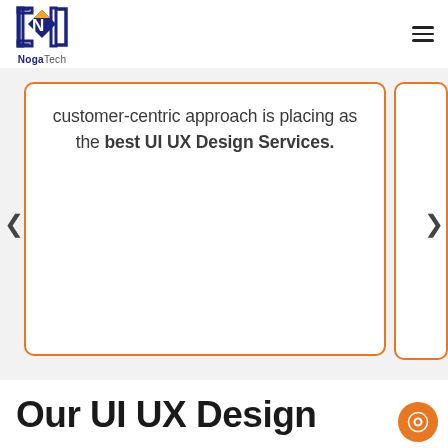[Figure (logo): NogaTech logo — diamond/N shape in navy and gold, with text 'NogaTech' below]
customer-centric approach is placing as the best UI UX Design Services.
Our UI UX Design Services